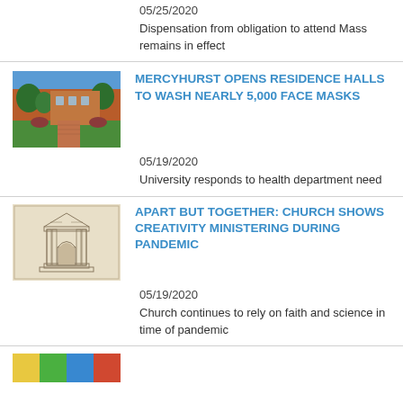05/25/2020
Dispensation from obligation to attend Mass remains in effect
[Figure (photo): Aerial/outdoor campus photo of Mercyhurst University showing brick walkways and green spaces]
MERCYHURST OPENS RESIDENCE HALLS TO WASH NEARLY 5,000 FACE MASKS
05/19/2020
University responds to health department need
[Figure (illustration): Sketch/drawing of a church building entrance with arched doorway]
APART BUT TOGETHER: CHURCH SHOWS CREATIVITY MINISTERING DURING PANDEMIC
05/19/2020
Church continues to rely on faith and science in time of pandemic
[Figure (photo): Partial colorful photo at bottom, cut off]